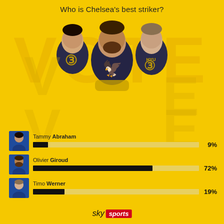Who is Chelsea's best striker?
[Figure (infographic): Three Chelsea FC strikers (Tammy Abraham, Olivier Giroud, Timo Werner) shown in Chelsea dark kit against yellow background with large VOTE watermark text]
[Figure (bar-chart): Who is Chelsea's best striker?]
sky sports